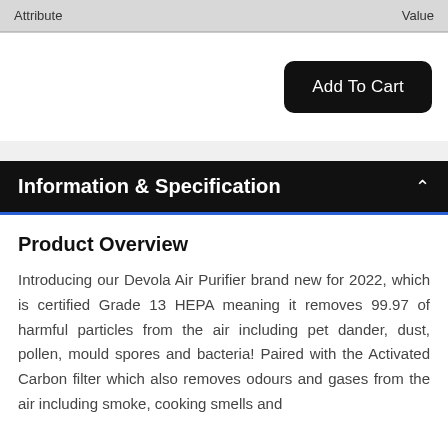| Attribute | Value |
| --- | --- |
Add To Cart
Information & Specification
Product Overview
Introducing our Devola Air Purifier brand new for 2022, which is certified Grade 13 HEPA meaning it removes 99.97 of harmful particles from the air including pet dander, dust, pollen, mould spores and bacteria! Paired with the Activated Carbon filter which also removes odours and gases from the air including smoke, cooking smells and